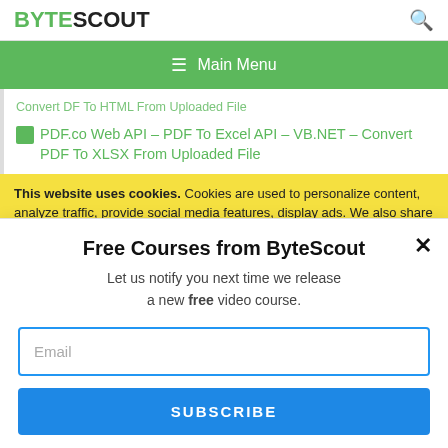BYTESCOUT
≡ Main Menu
Convert DF To HTML From Uploaded File
PDF.co Web API – PDF To Excel API – VB.NET – Convert PDF To XLSX From Uploaded File
This website uses cookies. Cookies are used to personalize content, analyze traffic, provide social media features, display ads. We also share
Free Courses from ByteScout
Let us notify you next time we release a new free video course.
Email
SUBSCRIBE